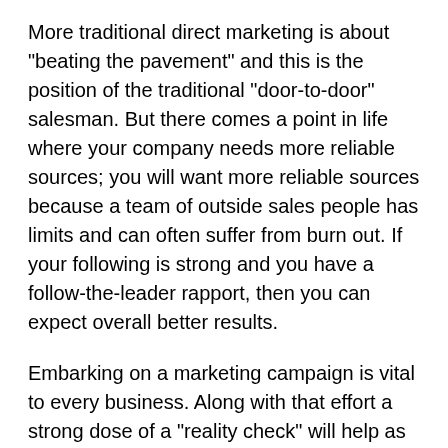More traditional direct marketing is about "beating the pavement" and this is the position of the traditional "door-to-door" salesman. But there comes a point in life where your company needs more reliable sources; you will want more reliable sources because a team of outside sales people has limits and can often suffer from burn out. If your following is strong and you have a follow-the-leader rapport, then you can expect overall better results.
Embarking on a marketing campaign is vital to every business. Along with that effort a strong dose of a "reality check" will help as well. For any marketing effort you should allow at least 90 days and up to 120 days before evaluating the marketing effort or trying to measure the results. Put simply, you cannot reasonably expect to sow and reap in the same day, week or month. Neither can you expect that from any marketing campaign or any sales staff. Relationships take time to develop; reaping requires an upfront effort on the part of your company and its sales team/marketing group.